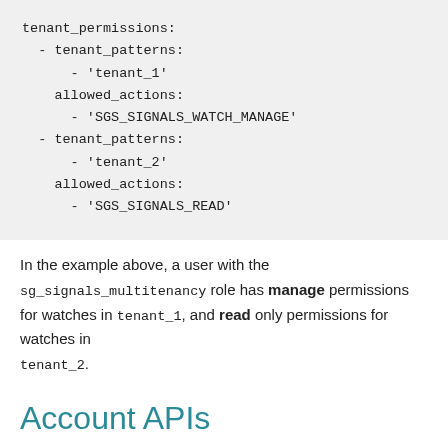tenant_permissions:
  - tenant_patterns:
      - 'tenant_1'
    allowed_actions:
      - 'SGS_SIGNALS_WATCH_MANAGE'
  - tenant_patterns:
      - 'tenant_2'
    allowed_actions:
      - 'SGS_SIGNALS_READ'
In the example above, a user with the sg_signals_multitenancy role has manage permissions for watches in tenant_1, and read only permissions for watches in tenant_2.
Account APIs
Accounts are managed globally, so permissions are assigned to